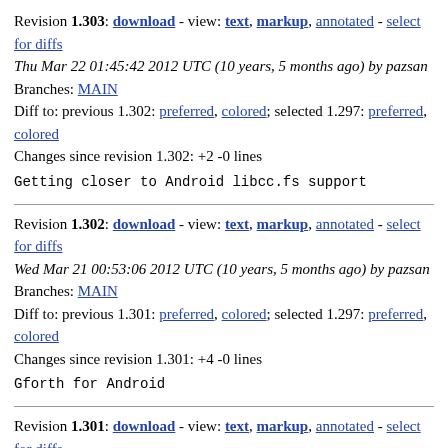Revision 1.303: download - view: text, markup, annotated - select for diffs
Thu Mar 22 01:45:42 2012 UTC (10 years, 5 months ago) by pazsan
Branches: MAIN
Diff to: previous 1.302: preferred, colored; selected 1.297: preferred, colored
Changes since revision 1.302: +2 -0 lines

Getting closer to Android libcc.fs support
Revision 1.302: download - view: text, markup, annotated - select for diffs
Wed Mar 21 00:53:06 2012 UTC (10 years, 5 months ago) by pazsan
Branches: MAIN
Diff to: previous 1.301: preferred, colored; selected 1.297: preferred, colored
Changes since revision 1.301: +4 -0 lines

Gforth for Android
Revision 1.301: download - view: text, markup, annotated - select for diffs
Mon Mar 19 21:51:28 2012 UTC (10 years, 5 months ago) by